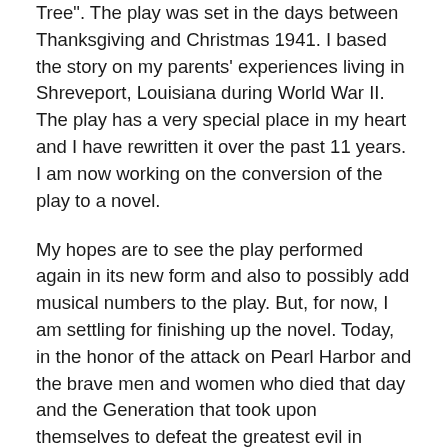Tree". The play was set in the days between Thanksgiving and Christmas 1941. I based the story on my parents' experiences living in Shreveport, Louisiana during World War II. The play has a very special place in my heart and I have rewritten it over the past 11 years. I am now working on the conversion of the play to a novel.
My hopes are to see the play performed again in its new form and also to possibly add musical numbers to the play. But, for now, I am settling for finishing up the novel. Today, in the honor of the attack on Pearl Harbor and the brave men and women who died that day and the Generation that took upon themselves to defeat the greatest evil in modern history I want to post an excerpt from my upcoming book, “The Homecoming Tree”.
To give you some idea of the setting, Ray Thorn is working